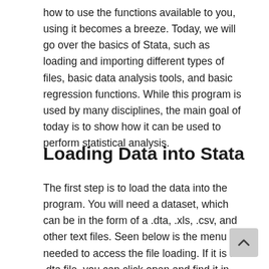how to use the functions available to you, using it becomes a breeze. Today, we will go over the basics of Stata, such as loading and importing different types of files, basic data analysis tools, and basic regression functions. While this program is used by many disciplines, the main goal of today is to show how it can be used to perform statistical analysis.
Loading Data into Stata
The first step is to load the data into the program. You will need a dataset, which can be in the form of a .dta, .xls, .csv, and other text files. Seen below is the menu needed to access the file loading. If it is a .dta file, you can click open and find it in your computer. If it is any other file, you will have to go down to import and do the same.